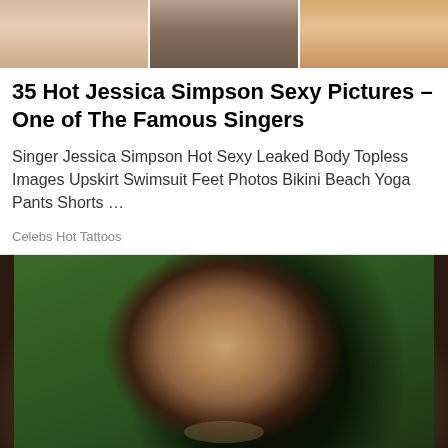[Figure (photo): Three cropped celebrity photos side by side at the top of the page showing partial bodies/faces]
35 Hot Jessica Simpson Sexy Pictures – One of The Famous Singers
Singer Jessica Simpson Hot Sexy Leaked Body Topless Images Upskirt Swimsuit Feet Photos Bikini Beach Yoga Pants Shorts …
Celebs Hot Tattoos
[Figure (photo): Close-up photo of a smiling man with long curly dark hair, light brown skin, beard, wearing an earring, pointing toward camera, with green bokeh background]